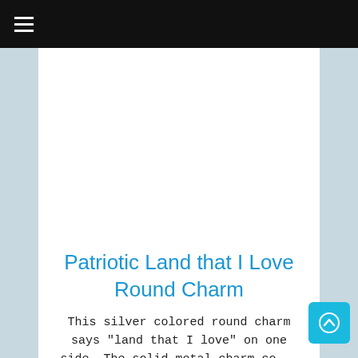≡
[Figure (other): White blank image placeholder area]
Patriotic Land that I Love Round Charm
This silver colored round charm says "land that I love" on one side. The solid metal charm comes with a secure lobster style clasp to...